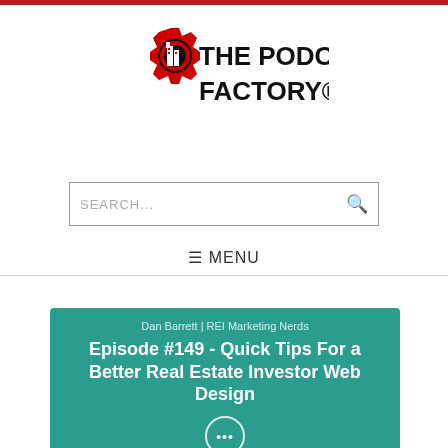[Figure (logo): The Podcast Factory logo with gear/building icon and text]
SEARCH...
☰ MENU
Dan Barrett | REI Marketing Nerds
Episode #149 - Quick Tips For a Better Real Estate Investor Web Design
[Figure (screenshot): Podcast player UI with more options button (…), play button, speed controls (1x, 15, 60), and volume icon on teal background]